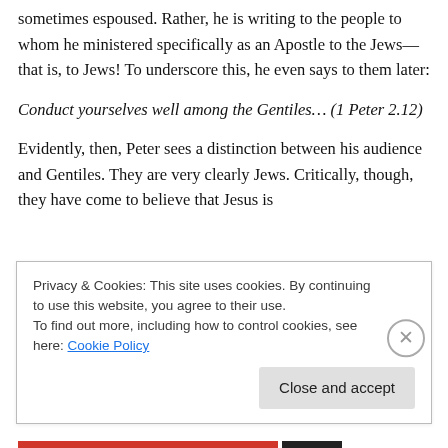sometimes espoused. Rather, he is writing to the people to whom he ministered specifically as an Apostle to the Jews—that is, to Jews! To underscore this, he even says to them later:
Conduct yourselves well among the Gentiles… (1 Peter 2.12)
Evidently, then, Peter sees a distinction between his audience and Gentiles. They are very clearly Jews. Critically, though, they have come to believe that Jesus is
Privacy & Cookies: This site uses cookies. By continuing to use this website, you agree to their use.
To find out more, including how to control cookies, see here: Cookie Policy
Close and accept